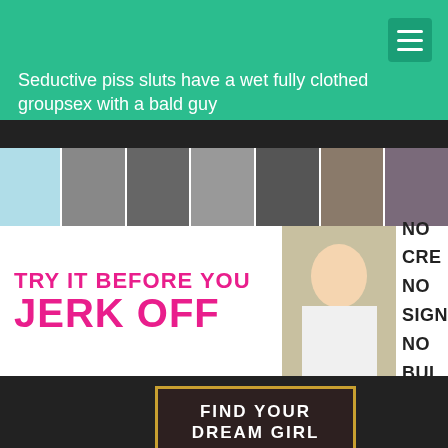Seductive piss sluts have a wet fully clothed groupsex with a bald guy
[Figure (photo): Thumbnail strip of adult content images]
[Figure (infographic): Adult website advertisement banner: TRY IT BEFORE YOU JERK OFF. NO CRE... NO SIGN... NO BUL...]
[Figure (infographic): Dating site ad: FIND YOUR DREAM GIRL - SEVERAL MILLIONS OF SINGLES WAITING FOR THE RIGHT MAN]